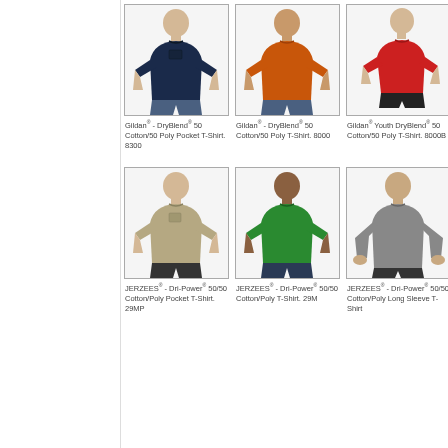[Figure (photo): Man wearing navy blue Gildan DryBlend 50/50 Pocket T-Shirt]
Gildan® - DryBlend® 50 Cotton/50 Poly Pocket T-Shirt. 8300
[Figure (photo): Man wearing orange Gildan DryBlend 50/50 T-Shirt]
Gildan® - DryBlend® 50 Cotton/50 Poly T-Shirt. 8000
[Figure (photo): Youth wearing red Gildan Youth DryBlend 50/50 T-Shirt]
Gildan® Youth DryBlend® 50 Cotton/50 Poly T-Shirt. 8000B
[Figure (photo): Man wearing tan/khaki JERZEES Dri-Power 50/50 Pocket T-Shirt]
JERZEES® - Dri-Power® 50/50 Cotton/Poly Pocket T-Shirt. 29MP
[Figure (photo): Man wearing green JERZEES Dri-Power 50/50 Cotton/Poly T-Shirt]
JERZEES® - Dri-Power® 50/50 Cotton/Poly T-Shirt. 29M
[Figure (photo): Man wearing gray JERZEES Dri-Power 50/50 Cotton/Poly Long Sleeve T-Shirt]
JERZEES® - Dri-Power® 50/50 Cotton/Poly Long Sleeve T-Shirt